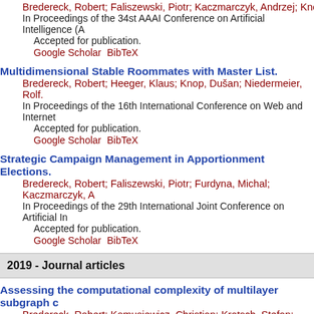Bredereck, Robert; Faliszewski, Piotr; Kaczmarczyk, Andrzej; Knop, Du...
In Proceedings of the 34st AAAI Conference on Artificial Intelligence (A...
Accepted for publication.
Google Scholar  BibTeX
Multidimensional Stable Roommates with Master List.
Bredereck, Robert; Heeger, Klaus; Knop, Dušan; Niedermeier, Rolf.
In Proceedings of the 16th International Conference on Web and Internet...
Accepted for publication.
Google Scholar  BibTeX
Strategic Campaign Management in Apportionment Elections.
Bredereck, Robert; Faliszewski, Piotr; Furdyna, Michal; Kaczmarczyk, A...
In Proceedings of the 29th International Joint Conference on Artificial In...
Accepted for publication.
Google Scholar  BibTeX
2019 - Journal articles
Assessing the computational complexity of multilayer subgraph c...
Bredereck, Robert; Komusiewicz, Christian; Kratsch, Stefan; Molter, He...
Network Science 7:315 - 341